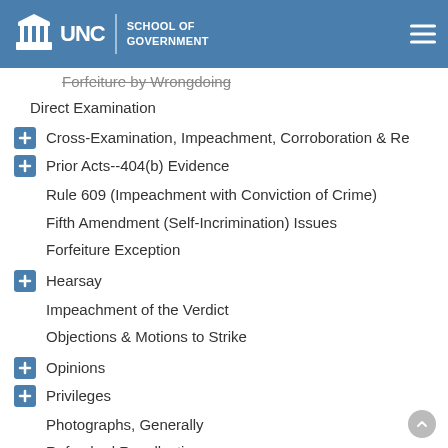UNC School of Government
Forfeiture by Wrongdoing (partial, struck through)
Direct Examination
Cross-Examination, Impeachment, Corroboration & Re
Prior Acts--404(b) Evidence
Rule 609 (Impeachment with Conviction of Crime)
Fifth Amendment (Self-Incrimination) Issues
Forfeiture Exception
Hearsay
Impeachment of the Verdict
Objections & Motions to Strike
Opinions
Privileges
Photographs, Generally
Refreshed Recollection
Re-Opening Evidence
Rule of Completeness (Rule 106)
Sixth Amendment Issues
Verdict, Impeachment of